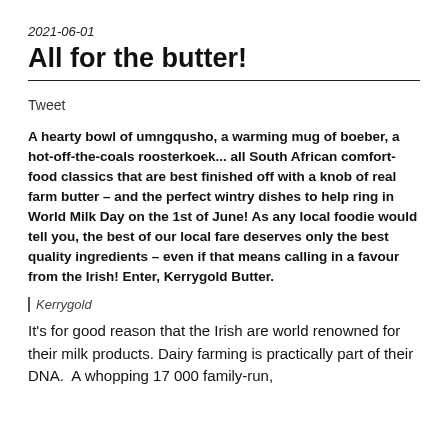2021-06-01
All for the butter!
Tweet
A hearty bowl of umngqusho, a warming mug of boeber, a hot-off-the-coals roosterkoek... all South African comfort-food classics that are best finished off with a knob of real farm butter – and the perfect wintry dishes to help ring in World Milk Day on the 1st of June! As any local foodie would tell you, the best of our local fare deserves only the best quality ingredients – even if that means calling in a favour from the Irish! Enter, Kerrygold Butter.
| Kerrygold
It's for good reason that the Irish are world renowned for their milk products. Dairy farming is practically part of their DNA.  A whopping 17 000 family-run,